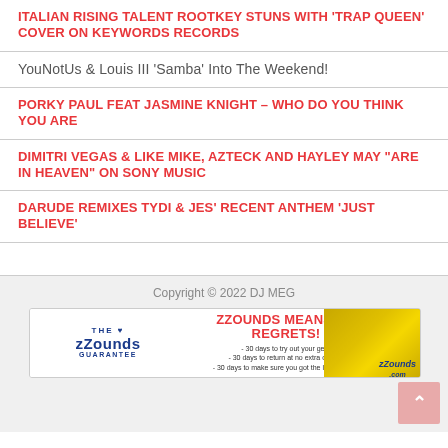ITALIAN RISING TALENT ROOTKEY STUNS WITH 'TRAP QUEEN' COVER ON KEYWORDS RECORDS
YouNotUs & Louis III 'Samba' Into The Weekend!
PORKY PAUL FEAT JASMINE KNIGHT – WHO DO YOU THINK YOU ARE
DIMITRI VEGAS & LIKE MIKE, AZTECK AND HAYLEY MAY "ARE IN HEAVEN" ON SONY MUSIC
DARUDE REMIXES TYDI & JES' RECENT ANTHEM 'JUST BELIEVE'
Copyright © 2022 DJ MEG
[Figure (infographic): zZounds advertisement banner: 'ZZOUNDS MEANS NO REGRETS!' with The zZounds Guarantee logo, bullet points about 30-day trial, return, and lowest price guarantee, and musical instruments on golden background]